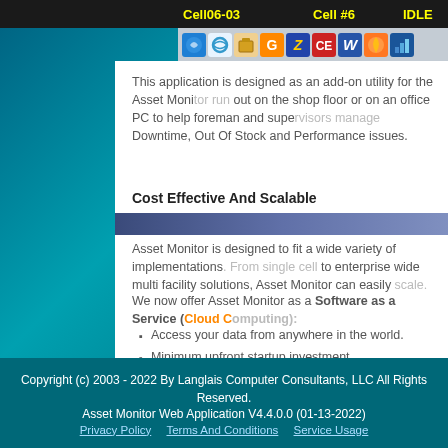Cell06-03   Cell #6   IDLE   G
[Figure (screenshot): Toolbar with application icons including Windows start, browser, file manager, and other application icons]
This application is designed as an add-on utility for the Asset Monitor run out on the shop floor or on an office PC to help foreman and supervisors manage Downtime, Out Of Stock and Performance issues.
Cost Effective And Scalable
Asset Monitor is designed to fit a wide variety of implementations. From single cell to enterprise wide multi facility solutions, Asset Monitor can easily scale.
We now offer Asset Monitor as a Software as a Service (Cloud Computing):
Access your data from anywhere in the world.
Minimum upfront startup investment.
Get up and running in a day.
NO in-house IT support required on Database & Web Server maintenance.
Get free upgrades as they become available!
Copyright (c) 2003 - 2022 By Langlais Computer Consultants, LLC All Rights Reserved.
Asset Monitor Web Application V4.4.0.0 (01-13-2022)
Privacy Policy   Terms And Conditions   Service Usage